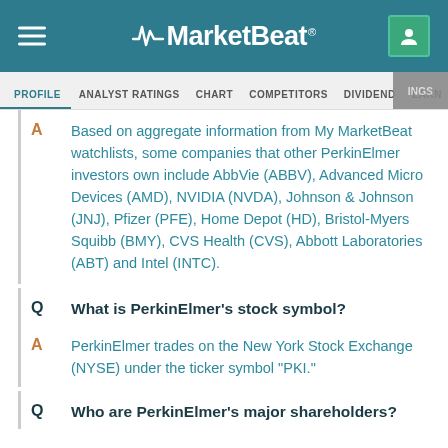MarketBeat
PROFILE  ANALYST RATINGS  CHART  COMPETITORS  DIVIDEND  EARNINGS
A  Based on aggregate information from My MarketBeat watchlists, some companies that other PerkinElmer investors own include AbbVie (ABBV), Advanced Micro Devices (AMD), NVIDIA (NVDA), Johnson & Johnson (JNJ), Pfizer (PFE), Home Depot (HD), Bristol-Myers Squibb (BMY), CVS Health (CVS), Abbott Laboratories (ABT) and Intel (INTC).
Q  What is PerkinElmer's stock symbol?
A  PerkinElmer trades on the New York Stock Exchange (NYSE) under the ticker symbol "PKI."
Q  Who are PerkinElmer's major shareholders?